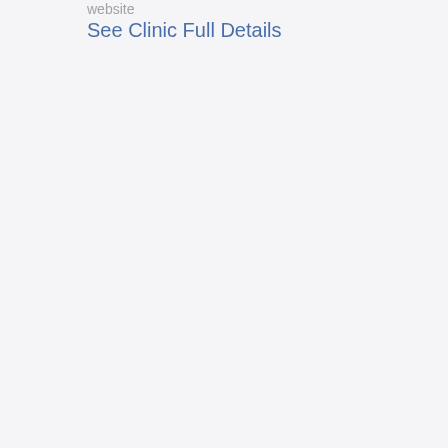website
See Clinic Full Details